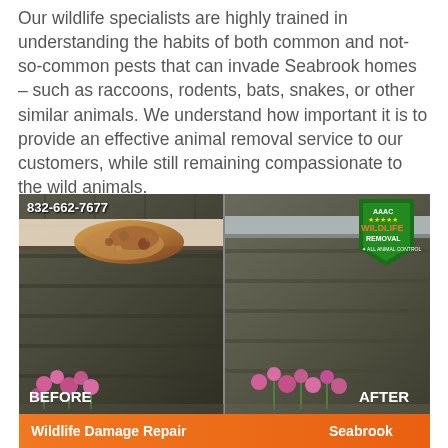Our wildlife specialists are highly trained in understanding the habits of both common and not-so-common pests that can invade Seabrook homes – such as raccoons, rodents, bats, snakes, or other similar animals. We understand how important it is to provide an effective animal removal service to our customers, while still remaining compassionate to the wild animals.
[Figure (photo): Before and after comparison photo of wildlife damage repair on a roof in Seabrook. Left side (BEFORE) shows hole/damage in roof eave with debris. Right side (AFTER) shows repaired roof. Phone number 832-662-7677 shown on left side. AAAC Wildlife Removal logo in top right. Orange banner at bottom reads 'Wildlife Damage Repair' and 'Seabrook'.]